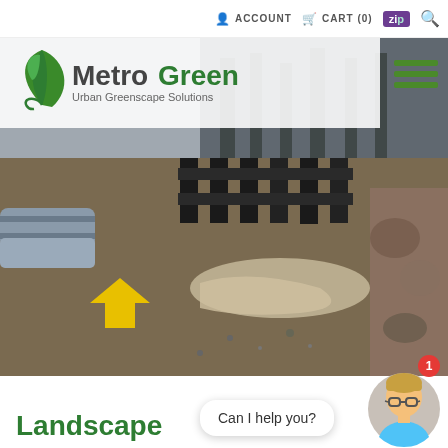ACCOUNT  CART (0)  ZIP  [search]
[Figure (logo): MetroGreen Urban Greenscape Solutions logo with green leaf icon]
[Figure (photo): Construction site photo showing black plastic tree root support structures being installed underground, with pipes and rubble visible]
Landscape
Can I help you?